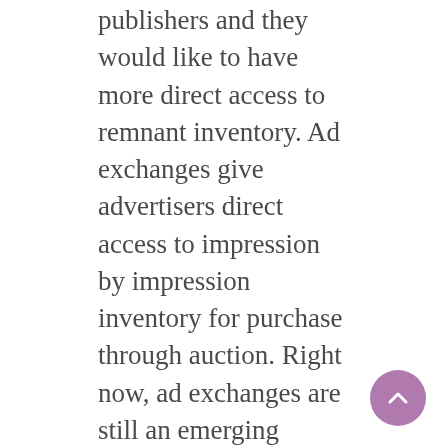publishers and they would like to have more direct access to remnant inventory. Ad exchanges give advertisers direct access to impression by impression inventory for purchase through auction. Right now, ad exchanges are still an emerging platform, but if they gain popularity, they would decrease the relevancy of ad networks. That doesn't mean behavioral targeting would go away, but it may become less attractive to advertisers if they can target remnant impressions more precisely.
In conclusion, congress and the FTC continue to debate regulation of behavioral targeting while the online